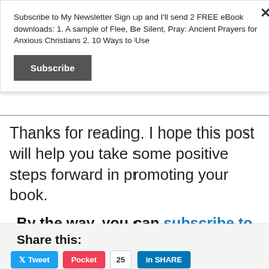Subscribe to My Newsletter Sign up and I'll send 2 FREE eBook downloads: 1. A sample of Flee, Be Silent, Pray: Ancient Prayers for Anxious Christians 2. 10 Ways to Use
Subscribe
Thanks for reading. I hope this post will help you take some positive steps forward in promoting your book.
By the way, you can subscribe to my e-newsletter to see how I keep in touch with my readers.
Share this:
Tweet  Pocket  25  SHARE